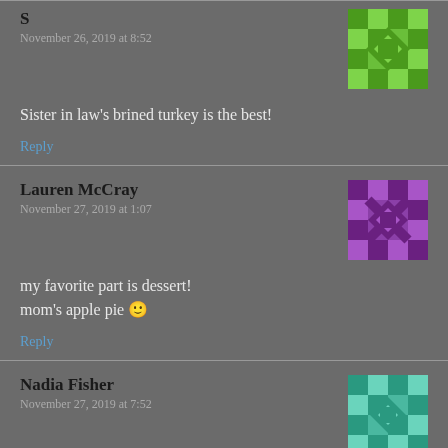S
November 26, 2019 at 8:52
[Figure (illustration): Green pixel/geometric avatar icon]
Sister in law’s brined turkey is the best!
Reply
Lauren McCray
November 27, 2019 at 1:07
[Figure (illustration): Purple pixel/geometric avatar icon]
my favorite part is dessert! mom’s apple pie 🙂
Reply
Nadia Fisher
November 27, 2019 at 7:52
[Figure (illustration): Teal/green pixel/geometric avatar icon]
My favorite part is spending time